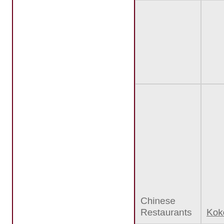|  | Chinese Restaurants | Kokomo | 24 Hours a Day |